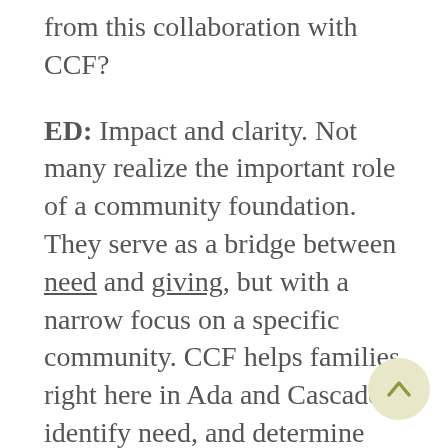from this collaboration with CCF?
ED:  Impact and clarity.  Not many realize the important role of a community foundation.  They serve as a bridge between need and giving, but with a narrow focus on a specific community. CCF helps families right here in Ada and Cascade identify need, and determine how to best create impact.  They guide businesses to providing